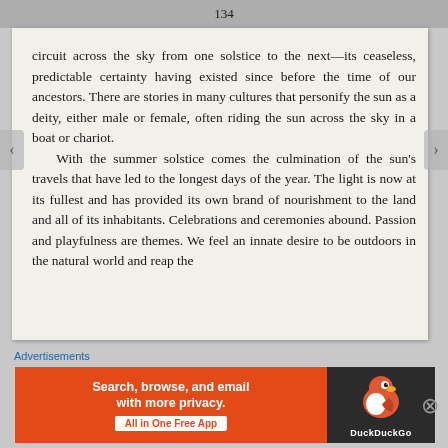134
circuit across the sky from one solstice to the next—its ceaseless, predictable certainty having existed since before the time of our ancestors. There are stories in many cultures that personify the sun as a deity, either male or female, often riding the sun across the sky in a boat or chariot.
    With the summer solstice comes the culmination of the sun's travels that have led to the longest days of the year. The light is now at its fullest and has provided its own brand of nourishment to the land and all of its inhabitants. Celebrations and ceremonies abound. Passion and playfulness are themes. We feel an innate desire to be outdoors in the natural world and reap the
Advertisements
[Figure (screenshot): DuckDuckGo advertisement banner: orange left section with text 'Search, browse, and email with more privacy. All in One Free App' and dark right section with DuckDuckGo duck logo and brand name.]